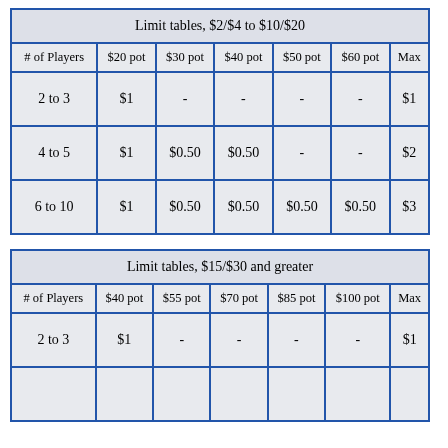| # of Players | $20 pot | $30 pot | $40 pot | $50 pot | $60 pot | Max |
| --- | --- | --- | --- | --- | --- | --- |
| 2 to 3 | $1 | - | - | - | - | $1 |
| 4 to 5 | $1 | $0.50 | $0.50 | - | - | $2 |
| 6 to 10 | $1 | $0.50 | $0.50 | $0.50 | $0.50 | $3 |
| # of Players | $40 pot | $55 pot | $70 pot | $85 pot | $100 pot | Max |
| --- | --- | --- | --- | --- | --- | --- |
| 2 to 3 | $1 | - | - | - | - | $1 |